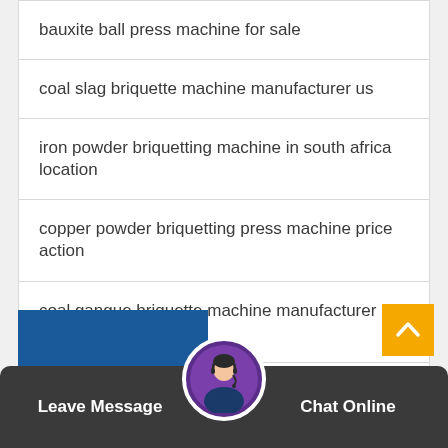bauxite ball press machine for sale
coal slag briquette machine manufacturer us
iron powder briquetting machine in south africa location
copper powder briquetting press machine price action
coal gangue briquette machine manufacturer manual
coal briquette machine in kenya
ceramics briquette making machine in south africa zone
[Figure (screenshot): Mobile website bottom bar with Leave Message button on left, Chat Online button on right, support agent avatar in center, blue banner partially visible, yellow scroll-to-top button, and partial text 'Dedicate' and 'Request A']